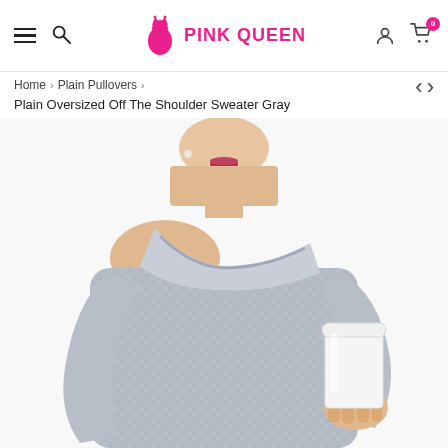Pink Queen — navigation header with hamburger menu, search, logo, user icon, cart (0)
Home > Plain Pullovers >
Plain Oversized Off The Shoulder Sweater Gray
[Figure (photo): Woman wearing a gray plain oversized off-the-shoulder knit sweater, holding a white to-go coffee cup. Photo is cropped from chin to waist on a white background.]